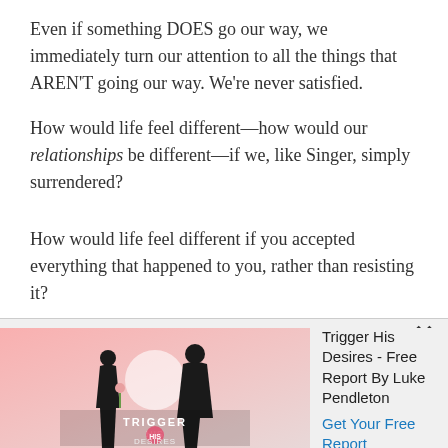Even if something DOES go our way, we immediately turn our attention to all the things that AREN'T going our way. We're never satisfied.
How would life feel different—how would our relationships be different—if we, like Singer, simply surrendered?
How would life feel different if you accepted everything that happened to you, rather than resisting it?
nized that you were powerless over
[Figure (illustration): Book cover for 'Trigger His Desires' showing silhouettes of a couple on a pink background]
Trigger His Desires - Free Report By Luke Pendleton
Get Your Free Report